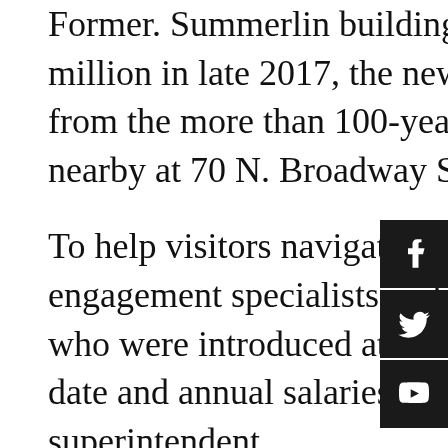...Former. Summerlin building the district purchased for $9.2 million in late 2017, the new APS headquarters is an upgrade from the more than 100-year-old current office buildings nearby at 70 N. Broadway St. and 65 Steiner Ave.
To help visitors navigate the new building, the board hired two engagement specialists — Sonil Haslam and Jessica Robb — who were introduced at the meeting. Both have an April 1 start date and annual salaries set at $43,400, as recommended by the superintendent.
A ribbon-cutting is expected to take place in May.
Bravo also said he's excited online school registration will be available soon, but there are still some pieces to get in place and some beta testing to be done.
While not totally eliminating packets the district mails out to parents every year, online registration will start to cut down on the massive use of paper.
“It’s not only a convenience and benefit for parents but also a cost savings for the district,” said Bravo.
In other business, the board approved entering a service...